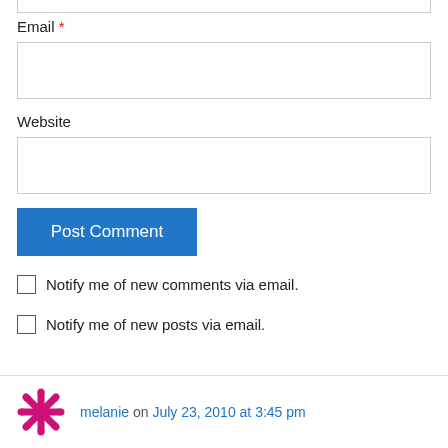Email *
Website
Post Comment
Notify me of new comments via email.
Notify me of new posts via email.
melanie on July 23, 2010 at 3:45 pm